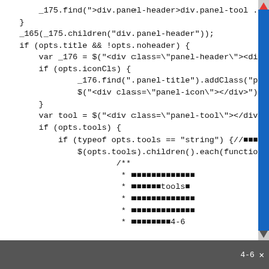Code screenshot showing JavaScript source code with panel-related jQuery operations and comments
[Figure (screenshot): Code editor screenshot showing JavaScript code with scrollbar on the right side containing red up arrow and blue scroll area, and a dark footer bar at the bottom]